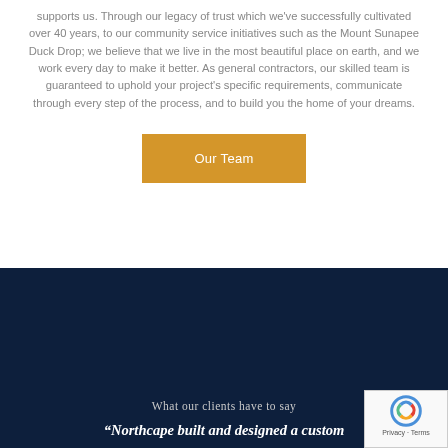supports us. Through our legacy of trust which we've successfully cultivated over 40 years, to our community service initiatives such as the Mount Sunapee Duck Drop; we believe that we live in the most beautiful place on earth, and we work every day to make it better. As general contractors, our skilled team is guaranteed to uphold your project's specific requirements, communicate through every step of the process, and to build you the home of your dreams.
Our Team
What our clients have to say
“Northcape built and designed a custom